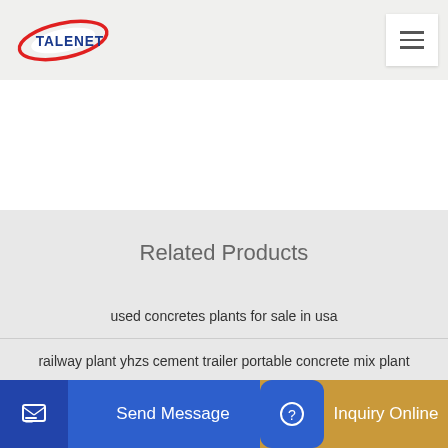TALENET
Related Products
used concretes plants for sale in usa
railway plant yhzs cement trailer portable concrete mix plant
alt mi…
Send Message
Inquiry Online